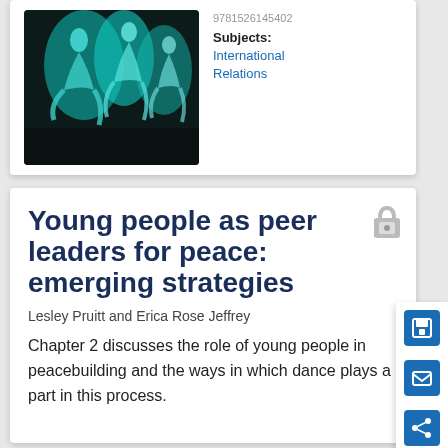[Figure (photo): Book cover image showing dancers in teal/cyan tones against dark background]
9781526145402
Subjects:
International Relations
Young people as peer leaders for peace: emerging strategies
Lesley Pruitt and Erica Rose Jeffrey
Chapter 2 discusses the role of young people in peacebuilding and the ways in which dance plays a part in this process.